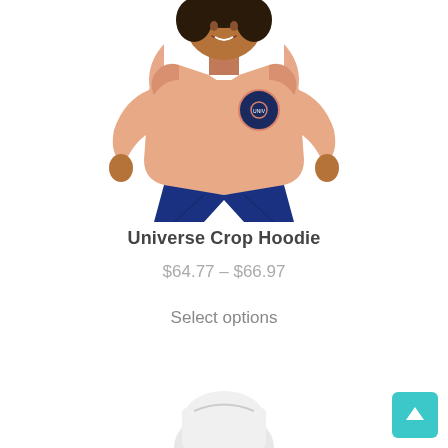[Figure (photo): A woman wearing a peach/salmon colored crop hoodie with a circular logo on the chest and dark blue jeans, smiling against a white background.]
Universe Crop Hoodie
$64.77 – $66.97
Select options
[Figure (photo): Partial view of another product (white hoodie/item) visible at the bottom of the page.]
[Figure (other): Teal/cyan scroll-to-top button with upward arrow in bottom right corner.]